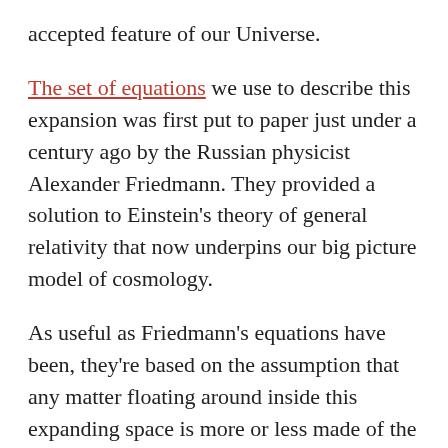accepted feature of our Universe.
The set of equations we use to describe this expansion was first put to paper just under a century ago by the Russian physicist Alexander Friedmann. They provided a solution to Einstein's theory of general relativity that now underpins our big picture model of cosmology.
As useful as Friedmann's equations have been, they're based on the assumption that any matter floating around inside this expanding space is more or less made of the same kind of stuff, and spread out fairly evenly.
This means we tend to ignore the swirls of stars and galaxies – just like we might not include ducks in the hydrodynamics of a lake.